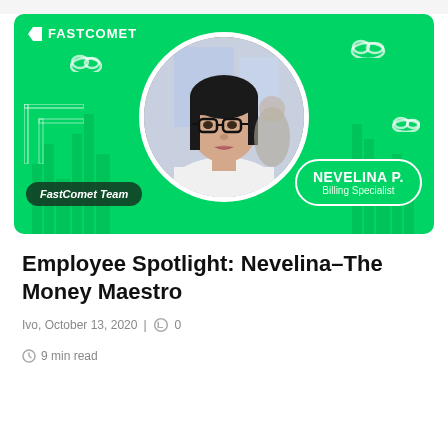[Figure (photo): FastComet branded banner image with green background. Shows a circular portrait photo of Nevelina P. (a woman with dark hair and glasses). Decorative cloud icons and city skyline silhouettes on the background. A name badge reads 'NEVELINA P. / Billing Specialist'. Bottom left badge reads 'FastComet Team'. Top left shows the FastComet logo.]
Employee Spotlight: Nevelina–The Money Maestro
Ivo, October 13, 2020 | 0
9 min read